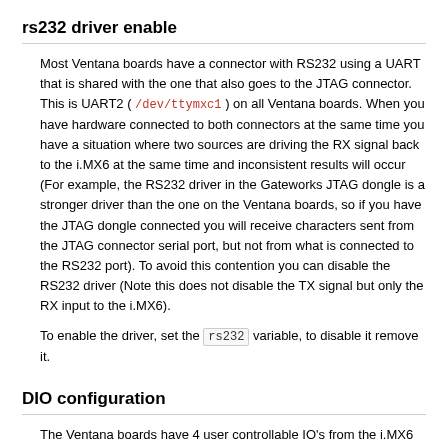rs232 driver enable
Most Ventana boards have a connector with RS232 using a UART that is shared with the one that also goes to the JTAG connector. This is UART2 ( /dev/ttymxc1 ) on all Ventana boards. When you have hardware connected to both connectors at the same time you have a situation where two sources are driving the RX signal back to the i.MX6 at the same time and inconsistent results will occur (For example, the RS232 driver in the Gateworks JTAG dongle is a stronger driver than the one on the Ventana boards, so if you have the JTAG dongle connected you will receive characters sent from the JTAG connector serial port, but not from what is connected to the RS232 port). To avoid this contention you can disable the RS232 driver (Note this does not disable the TX signal but only the RX input to the i.MX6).
To enable the driver, set the rs232 variable, to disable it remove it.
DIO configuration
The Ventana boards have 4 user controllable IO's from the i.MX6 going to a header. Depending on the board, some of these can be configured as GPIO or PWM (pulse-width-modulation) signals (where the PWM frequency/period is controlled by hardware).